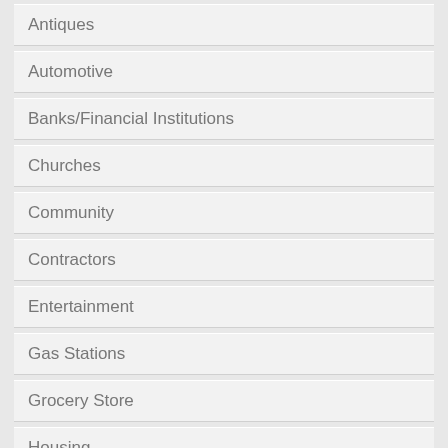Antiques
Automotive
Banks/Financial Institutions
Churches
Community
Contractors
Entertainment
Gas Stations
Grocery Store
Housing
Industrial
Local Businesses